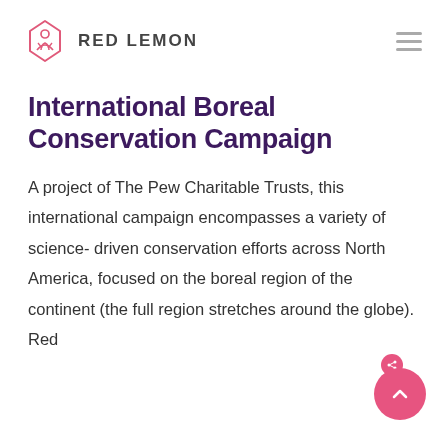RED LEMON
International Boreal Conservation Campaign
A project of The Pew Charitable Trusts, this international campaign encompasses a variety of science-driven conservation efforts across North America, focused on the boreal region of the continent (the full region stretches around the globe). Red...